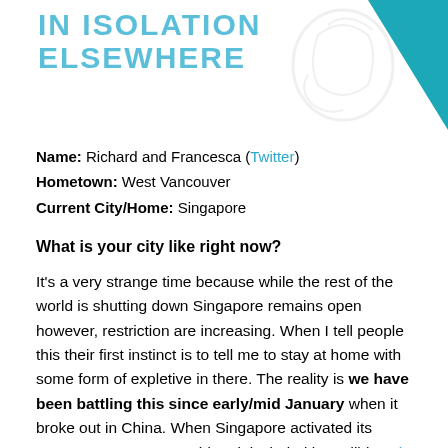IN ISOLATION ELSEWHERE
Name: Richard and Francesca (Twitter)
Hometown: West Vancouver
Current City/Home: Singapore
What is your city like right now?
It's a very strange time because while the rest of the world is shutting down Singapore remains open however, restriction are increasing. When I tell people this their first instinct is to tell me to stay at home with some form of expletive in there. The reality is we have been battling this since early/mid January when it broke out in China. When Singapore activated its response system to covid-19 it included incredibly strict (and impressive) tracing